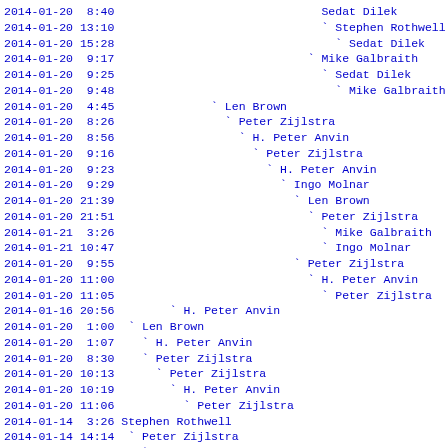2014-01-20  8:40                              Sedat Dilek
2014-01-20 13:10                              ` Stephen Rothwell
2014-01-20 15:28                                ` Sedat Dilek
2014-01-20  9:17                            ` Mike Galbraith
2014-01-20  9:25                              ` Sedat Dilek
2014-01-20  9:48                                ` Mike Galbraith
2014-01-20  4:45              ` Len Brown
2014-01-20  8:26                ` Peter Zijlstra
2014-01-20  8:56                  ` H. Peter Anvin
2014-01-20  9:16                    ` Peter Zijlstra
2014-01-20  9:23                      ` H. Peter Anvin
2014-01-20  9:29                        ` Ingo Molnar
2014-01-20 21:39                          ` Len Brown
2014-01-20 21:51                            ` Peter Zijlstra
2014-01-21  3:26                              ` Mike Galbraith
2014-01-21 10:47                              ` Ingo Molnar
2014-01-20  9:55                          ` Peter Zijlstra
2014-01-20 11:00                            ` H. Peter Anvin
2014-01-20 11:05                              ` Peter Zijlstra
2014-01-16 20:56        ` H. Peter Anvin
2014-01-20  1:00  ` Len Brown
2014-01-20  1:07    ` H. Peter Anvin
2014-01-20  8:30    ` Peter Zijlstra
2014-01-20 10:13      ` Peter Zijlstra
2014-01-20 10:19        ` H. Peter Anvin
2014-01-20 11:06          ` Peter Zijlstra
2014-01-14  3:26 Stephen Rothwell
2014-01-14 14:14  ` Peter Zijlstra
2014-01-14 19:06    ` Mikulas Patocka
2014-01-14 20:05      ` Peter Zijlstra
2014-01-14 21:42        ` Mikulas Patocka